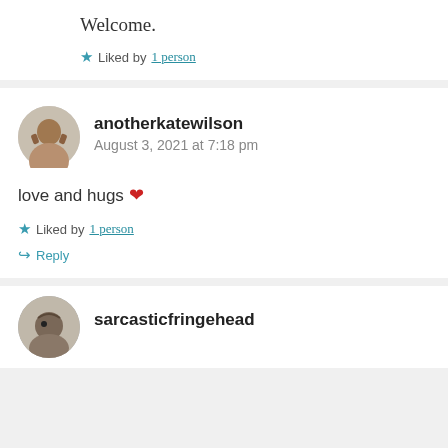Welcome.
Liked by 1 person
anotherkatewilson
August 3, 2021 at 7:18 pm
love and hugs ❤
Liked by 1 person
Reply
sarcasticfringehead